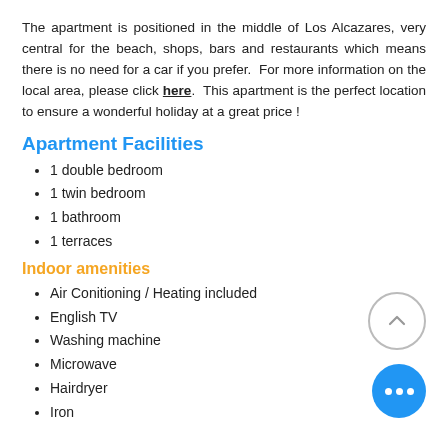The apartment is positioned in the middle of Los Alcazares, very central for the beach, shops, bars and restaurants which means there is no need for a car if you prefer.  For more information on the local area, please click here.  This apartment is the perfect location to ensure a wonderful holiday at a great price !
Apartment Facilities
1 double bedroom
1 twin bedroom
1 bathroom
1 terraces
Indoor amenities
Air Conitioning / Heating included
English TV
Washing machine
Microwave
Hairdryer
Iron